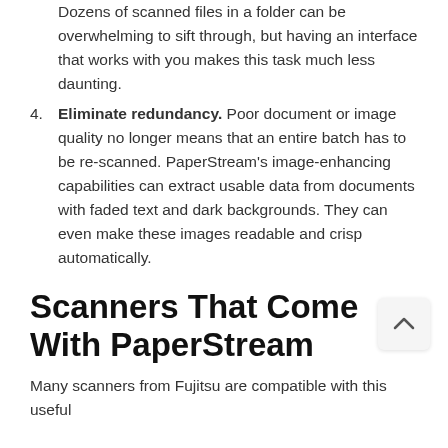Dozens of scanned files in a folder can be overwhelming to sift through, but having an interface that works with you makes this task much less daunting.
4. Eliminate redundancy. Poor document or image quality no longer means that an entire batch has to be re-scanned. PaperStream's image-enhancing capabilities can extract usable data from documents with faded text and dark backgrounds. They can even make these images readable and crisp automatically.
Scanners That Come With PaperStream
Many scanners from Fujitsu are compatible with this useful